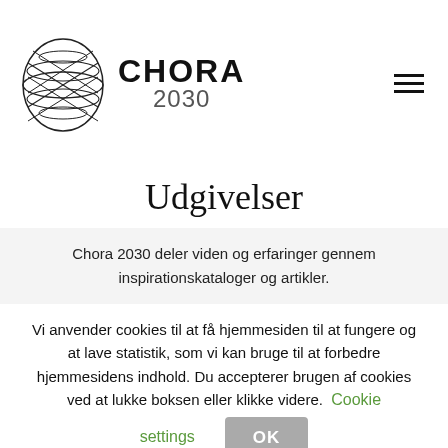[Figure (logo): Chora 2030 logo with an oval lattice/globe graphic on the left and bold text 'CHORA 2030' on the right]
Udgivelser
Chora 2030 deler viden og erfaringer gennem inspirationskataloger og artikler.
Vi anvender cookies til at få hjemmesiden til at fungere og at lave statistik, som vi kan bruge til at forbedre hjemmesidens indhold. Du accepterer brugen af cookies ved at lukke boksen eller klikke videre. Cookie settings OK